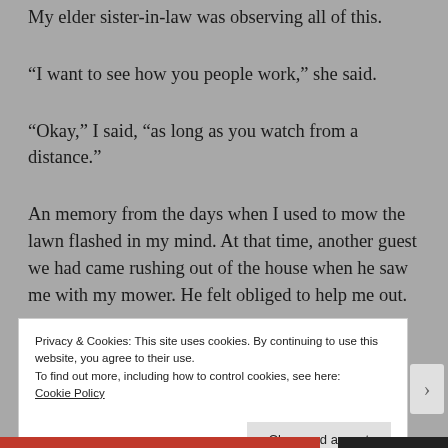My elder sister-in-law was observing all of this.
“I want to see how you people work,” she said.
“Okay,” I said, “as long as you watch from a distance.”
An memory from the days when I used to mow the lawn flashed in my mind. At that time, another guest we had came rushing out of the house when he saw me with my mower. He felt obliged to help me out.
Privacy & Cookies: This site uses cookies. By continuing to use this website, you agree to their use.
To find out more, including how to control cookies, see here: Cookie Policy
Close and accept